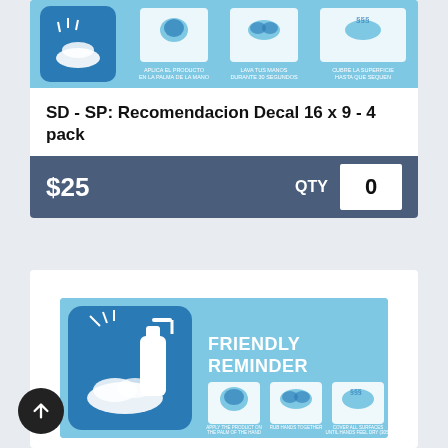[Figure (illustration): Top portion of a hand sanitizer 'Friendly Reminder' decal in Spanish (Recomendacion), showing hands being sanitized icon and three-step instruction icons on a light blue background]
SD - SP: Recomendacion Decal 16 x 9 - 4 pack
$25  QTY  0
[Figure (illustration): Hand sanitizer 'Friendly Reminder' decal in English, showing a blue square icon with hands being sanitized and bottles, text 'FRIENDLY REMINDER', and three-step instruction icons: apply product to palm, rub hands together, cover all surfaces until hands feel dry (30s)]